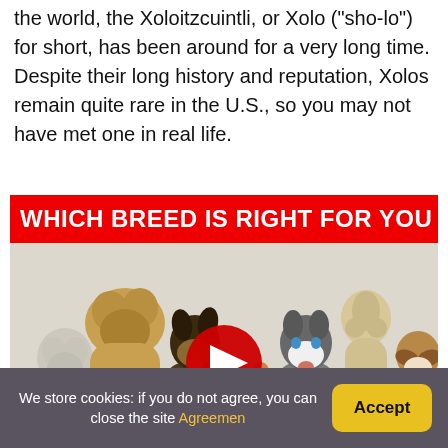the world, the Xoloitzcuintli, or Xolo ("sho-lo") for short, has been around for a very long time. Despite their long history and reputation, Xolos remain quite rare in the U.S., so you may not have met one in real life.
[Figure (screenshot): YouTube video thumbnail showing multiple dog breeds (Golden Retriever, German Shepherd, Corgi, Husky, Poodle, Beagle, Bulldog, Labrador) with a red YouTube play button overlay, and a red banner at the top reading 'WHICH BREED IS RIGHT FOR YOU']
We store cookies: if you do not agree, you can close the site Agreemen